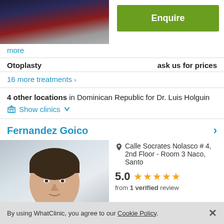[Figure (photo): Doctor in dark suit with checked shirt, photo cropped at top]
Enquire
more
Otoplasty    ask us for prices
16 more treatments >
4 other locations in Dominican Republic for Dr. Luis Holguin
Show clinics
Fernandez Goico
[Figure (photo): Young male doctor headshot, dark hair, light background]
Calle Socrates Nolasco # 4, 2nd Floor - Room 3 Naco, Santo
5.0  ★★★★★
from 1 verified review
By using WhatClinic, you agree to our Cookie Policy. ×